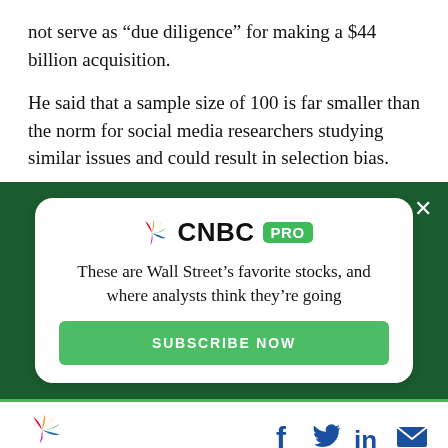not serve as “due diligence” for making a $44 billion acquisition.
He said that a sample size of 100 is far smaller than the norm for social media researchers studying similar issues and could result in selection bias.
[Figure (infographic): CNBC PRO advertisement card on a dark green background. Shows CNBC logo with PRO badge, tagline 'These are Wall Street’s favorite stocks, and where analysts think they’re going', and a green SUBSCRIBE NOW button. Close X icon in top right corner.]
[Figure (logo): CNBC logo (peacock rainbow icon with CNBC text) in footer, with social media icons (Facebook, Twitter, LinkedIn, Mail) in blue on the right.]